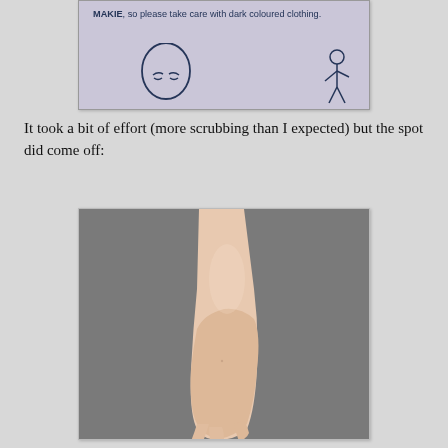[Figure (illustration): Partial view of an illustrated card/label with text about MAKIE and dark coloured clothing, with a line drawing of a bald face and a small figure in the bottom right corner. Background is light purple/lavender.]
It took a bit of effort (more scrubbing than I expected) but the spot did come off:
[Figure (photo): Photo of the back of a pale human hand and wrist against a gray background, showing clean skin with no visible spot or mark.]